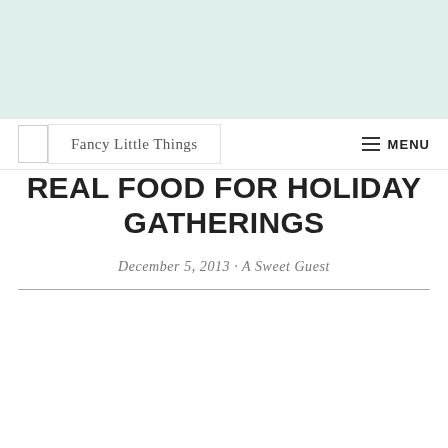[Figure (other): Mint/light teal colored banner background at top of page]
Fancy Little Things   MENU
REAL FOOD FOR HOLIDAY GATHERINGS
December 5, 2013 · A Sweet Guest